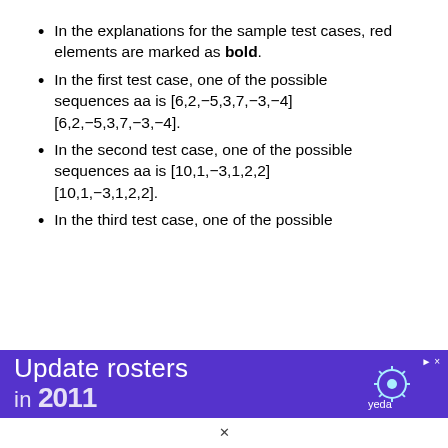In the explanations for the sample test cases, red elements are marked as bold.
In the first test case, one of the possible sequences aa is [6,2,−5,3,7,−3,−4] [6,2,−5,3,7,−3,−4].
In the second test case, one of the possible sequences aa is [10,1,−3,1,2,2] [10,1,−3,1,2,2].
In the third test case, one of the possible
[Figure (other): Advertisement banner: 'Update rosters' with Yeda branding on purple background]